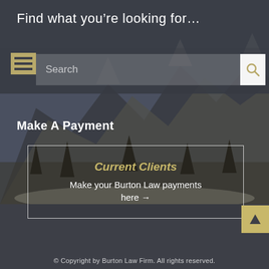Find what you're looking for…
[Figure (screenshot): Search bar with hamburger menu icon on left and magnifying glass button on right, on dark overlay background]
Make A Payment
[Figure (infographic): Box with white border on mountain background photo containing 'Current Clients' heading and 'Make your Burton Law payments here →' text]
© Copyright by Burton Law Firm. All rights reserved.